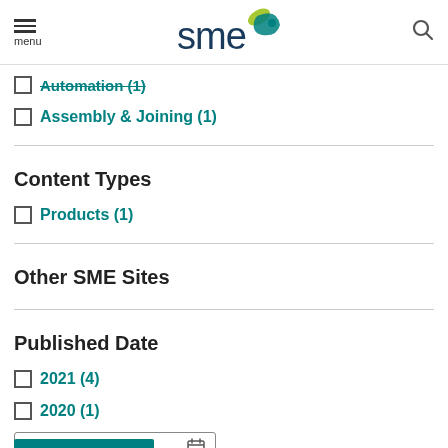SME logo, menu, search
Automation (1)
Assembly & Joining (1)
Content Types
Products (1)
Other SME Sites
Published Date
2021 (4)
2020 (1)
mm/dd/yyyy (date input 1)
mm/dd/yyyy (date input 2)